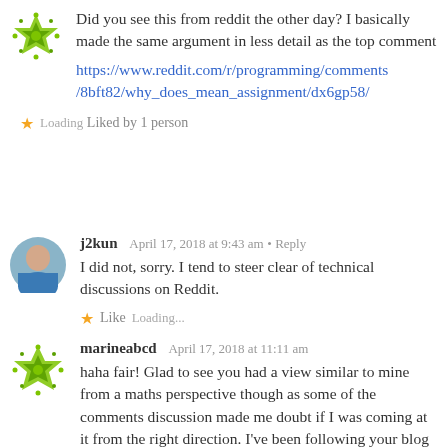[Figure (illustration): Green decorative snowflake/geometric avatar icon for marineabcd user (top comment)]
Did you see this from reddit the other day? I basically made the same argument in less detail as the top comment
https://www.reddit.com/r/programming/comments/8bft82/why_does_mean_assignment/dx6gp58/
Loading... Liked by 1 person
[Figure (photo): Circular avatar photo of j2kun user, person in blue shirt]
j2kun  April 17, 2018 at 9:43 am • Reply
I did not, sorry. I tend to steer clear of technical discussions on Reddit.
Like  Loading...
[Figure (illustration): Green decorative snowflake/geometric avatar icon for marineabcd user (bottom comment)]
marineabcd  April 17, 2018 at 11:11 am
haha fair! Glad to see you had a view similar to mine from a maths perspective though as some of the comments discussion made me doubt if I was coming at it from the right direction. I've been following your blog for about 4 years now